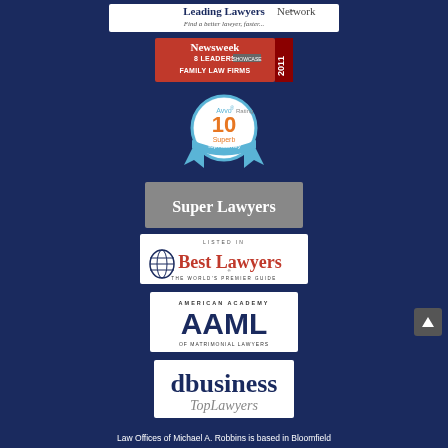[Figure (logo): Leading Lawyers Network logo - Find a better lawyer, faster]
[Figure (logo): Newsweek 8 Leaders Showcase Family Law Firms 2011]
[Figure (logo): Avvo Rating 10 Superb Top Attorney badge]
[Figure (logo): Super Lawyers logo]
[Figure (logo): Best Lawyers - Listed In - The World's Premier Guide]
[Figure (logo): AAML American Academy of Matrimonial Lawyers]
[Figure (logo): dbusiness Top Lawyers]
Law Offices of Michael A. Robbins is based in Bloomfield